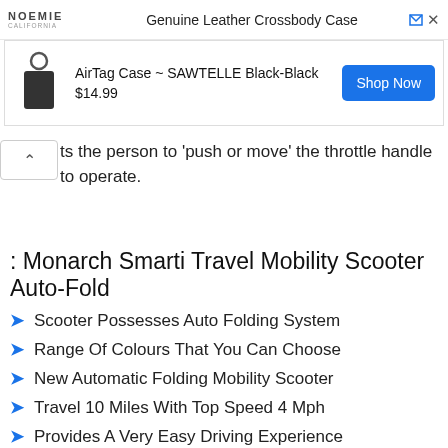[Figure (other): Ad banner with NOEMIE brand logo and text 'Genuine Leather Crossbody Case']
[Figure (other): Product listing: AirTag Case ~ SAWTELLE Black-Black, $14.99, with Shop Now button]
ts the person to 'push or move' the throttle handle to operate.
: Monarch Smarti Travel Mobility Scooter Auto-Fold
Scooter Possesses Auto Folding System
Range Of Colours That You Can Choose
New Automatic Folding Mobility Scooter
Travel 10 Miles With Top Speed 4 Mph
Provides A Very Easy Driving Experience